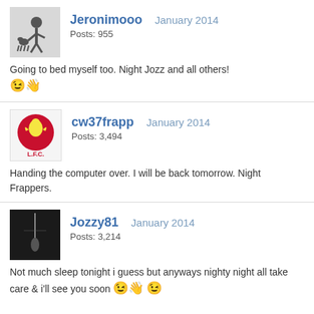Jeronimooo  January 2014
Posts: 955
Going to bed myself too. Night Jozz and all others! 👋
cw37frapp  January 2014
Posts: 3,494
Handing the computer over. I will be back tomorrow. Night Frappers.
Jozzy81  January 2014
Posts: 3,214
Not much sleep tonight i guess but anyways nighty night all take care & i'll see you soon 👋 😉

stay safe those who traveling work in the morning in this weather.
More Comments
Add a Comment
Powered by Vanilla    Full Site  Sign In